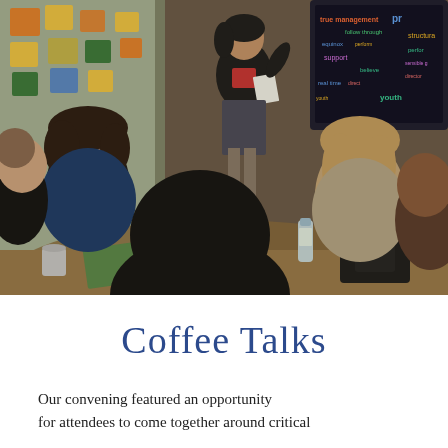[Figure (photo): A woman standing and presenting to a group of seated attendees around a table in a workshop or meeting setting. A colorful word cloud is visible on a screen in the background. Sticky notes are on a window to the left.]
Coffee Talks
Our convening featured an opportunity for attendees to come together around critical